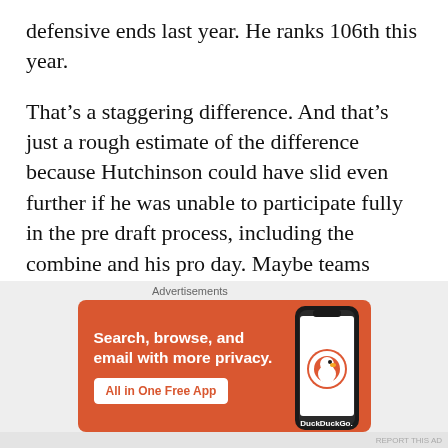defensive ends last year. He ranks 106th this year.
That’s a staggering difference. And that’s just a rough estimate of the difference because Hutchinson could have slid even further if he was unable to participate fully in the pre draft process, including the combine and his pro day. Maybe teams would have knocked him for a lack of production. He only had 4.5 sacks during his 2019 season and didn’t record one in 2020 before he got injured
Advertisements
[Figure (other): DuckDuckGo advertisement banner: orange background with white bold text 'Search, browse, and email with more privacy.' and a white button 'All in One Free App', with a phone graphic showing the DuckDuckGo app and logo on the right side.]